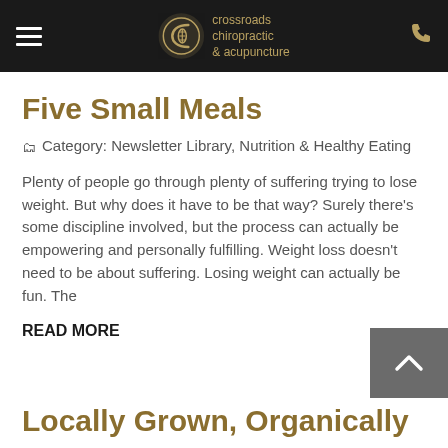crossroads chiropractic & acupuncture
Five Small Meals
Category: Newsletter Library, Nutrition & Healthy Eating
Plenty of people go through plenty of suffering trying to lose weight. But why does it have to be that way? Surely there's some discipline involved, but the process can actually be empowering and personally fulfilling. Weight loss doesn't need to be about suffering. Losing weight can actually be fun. The
READ MORE
Locally Grown, Organically